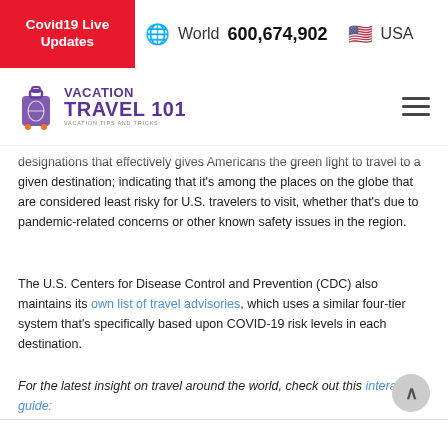Covid19 Live Updates | World 600,674,902 | USA
[Figure (logo): Vacation Travel 101 logo with luggage icon and purple text]
designations that effectively gives Americans the green light to travel to a given destination; indicating that it's among the places on the globe that are considered least risky for U.S. travelers to visit, whether that's due to pandemic-related concerns or other known safety issues in the region.
The U.S. Centers for Disease Control and Prevention (CDC) also maintains its own list of travel advisories, which uses a similar four-tier system that's specifically based upon COVID-19 risk levels in each destination.
For the latest insight on travel around the world, check out this interactive guide: